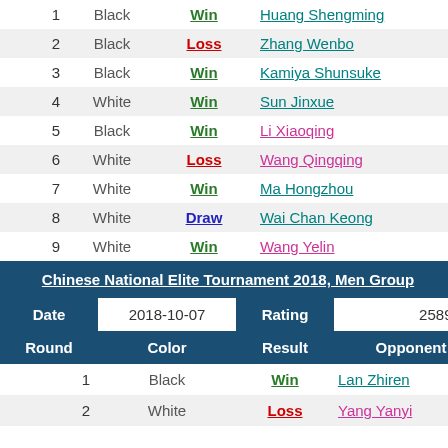| Round | Color | Result | Opponent | Rating |
| --- | --- | --- | --- | --- |
| 1 | Black | Win | Huang Shengming | 2518.8… |
| 2 | Black | Loss | Zhang Wenbo | 2346.9… |
| 3 | Black | Win | Kamiya Shunsuke | 2740.7… |
| 4 | White | Win | Sun Jinxue | 2192.8… |
| 5 | Black | Win | Li Xiaoqing | 2618.3… |
| 6 | White | Loss | Wang Qingqing | 2597.2… |
| 7 | White | Win | Ma Hongzhou | 2329.7… |
| 8 | White | Draw | Wai Chan Keong | 2692.7… |
| 9 | White | Win | Wang Yelin | 2428.4… |
Chinese National Elite Tournament 2018, Men Group
| Date | 2018-10-07 | Rating | 2589.1… |
| --- | --- | --- | --- |
| Round | Color | Result | Opponent |  |
| 1 | Black | Win | Lan Zhiren | 2609.8… |
| 2 | White | Loss | Yang Yanyi | 2829.1… |